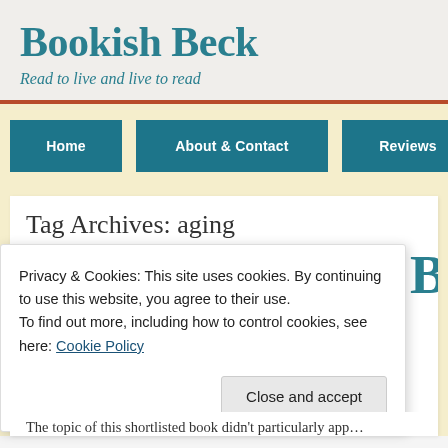Bookish Beck
Read to live and live to read
Home
About & Contact
Reviews
Love Your Li…
Tag Archives: aging
Privacy & Cookies: This site uses cookies. By continuing to use this website, you agree to their use.
To find out more, including how to control cookies, see here: Cookie Policy
Close and accept
The topic of this shortlisted book didn't particularly app…